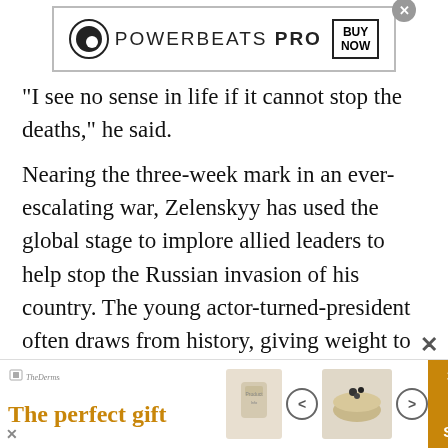[Figure (screenshot): Powerbeats Pro advertisement banner with Beats logo, text 'POWERBEATS PRO' and a 'BUY NOW' box, with a close X button]
“I see no sense in life if it cannot stop the deaths,” he said.
Nearing the three-week mark in an ever-escalating war, Zelenskyy has used the global stage to implore allied leaders to help stop the Russian invasion of his country. The young actor-turned-president often draws from history, giving weight to what have become powerful appearances.
Biden has stopped short of providing a no-fly zone
[Figure (screenshot): Bottom advertisement banner for 'The perfect gift' with product images, navigation arrows, and '35% OFF + FREE SHIPPING' in orange]